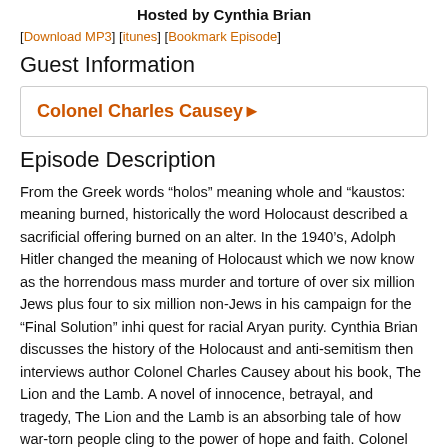Hosted by Cynthia Brian
[Download MP3] [itunes] [Bookmark Episode]
Guest Information
Colonel Charles Causey ▶
Episode Description
From the Greek words “holos” meaning whole and “kaustos: meaning burned, historically the word Holocaust described a sacrificial offering burned on an alter. In the 1940’s, Adolph Hitler changed the meaning of Holocaust which we now know as the horrendous mass murder and torture of over six million Jews plus four to six million non-Jews in his campaign for the “Final Solution” inhi quest for racial Aryan purity. Cynthia Brian discusses the history of the Holocaust and anti-semitism then interviews author Colonel Charles Causey about his book, The Lion and the Lamb. A novel of innocence, betrayal, and tragedy, The Lion and the Lamb is an absorbing tale of how war-torn people cling to the power of hope and faith. Colonel Charles Causey spent three years